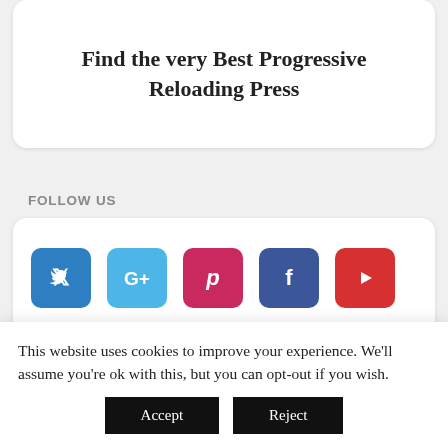Find the very Best Progressive Reloading Press
FOLLOW US
[Figure (infographic): Row of social media icons: Twitter (blue), Google+ (light blue), Pinterest (pink/red), Facebook (dark blue), YouTube (red)]
This website uses cookies to improve your experience. We'll assume you're ok with this, but you can opt-out if you wish.
Accept   Reject